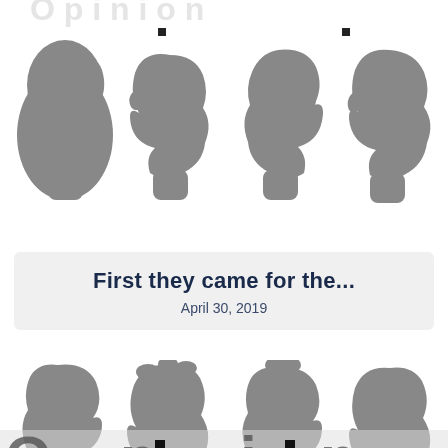[Figure (illustration): Top row of four grey human head silhouettes (profile views) arranged horizontally, partially cropped at top. Background watermark text visible.]
First they came for the...
April 30, 2019
[Figure (illustration): Middle row of four grey human head silhouettes (profile views) arranged horizontally.]
[Figure (illustration): Bottom row of four grey human head silhouettes (profile views) partially cropped, with watermark overlay at bottom.]